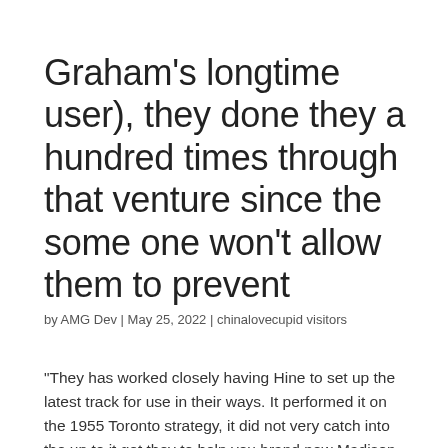Graham's longtime user), they done they a hundred times through that venture since the some one won't allow them to prevent
by AMG Dev | May 25, 2022 | chinalovecupid visitors
“They has worked closely having Hine to set up the latest track for use in their ways. It performed it on the 1955 Toronto strategy, it did not very catch into the up to it got they to help you brand new Madison Square Backyard inside the 1957. ”